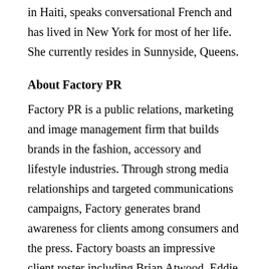in Haiti, speaks conversational French and has lived in New York for most of her life. She currently resides in Sunnyside, Queens.
About Factory PR
Factory PR is a public relations, marketing and image management firm that builds brands in the fashion, accessory and lifestyle industries. Through strong media relationships and targeted communications campaigns, Factory generates brand awareness for clients among consumers and the press. Factory boasts an impressive client roster including Brian Atwood, Eddie Bauer, Tracy Reese, The Art of Shaving, DDCLAB, Foley + Corinna and 2(x)ist. Founded by Mark Silver and Lauren Fisch Factory PR has been a leader of the industry for